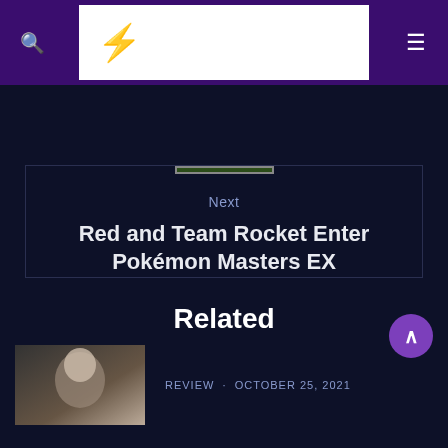Navigation header with search icon, lightning bolt logo, and menu icon
[Figure (screenshot): Pokémon Masters EX game cover thumbnail image]
Next
Red and Team Rocket Enter Pokémon Masters EX
Related
REVIEW · OCTOBER 25, 2021
[Figure (photo): Related article thumbnail photo]